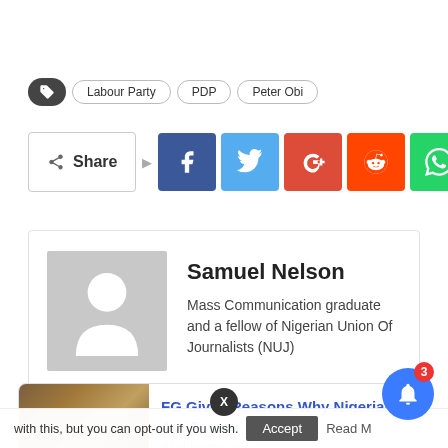Labour Party  PDP  Peter Obi
Share
[Figure (infographic): Author card with avatar placeholder for Samuel Nelson]
Samuel Nelson
Mass Communication graduate and a fellow of Nigerian Union Of Journalists (NUJ)
NEXT POST →
FG Gives Reasons Why Nigerians Are Facing
41 minutes ago
with this, but you can opt-out if you wish.
Accept  Read M...